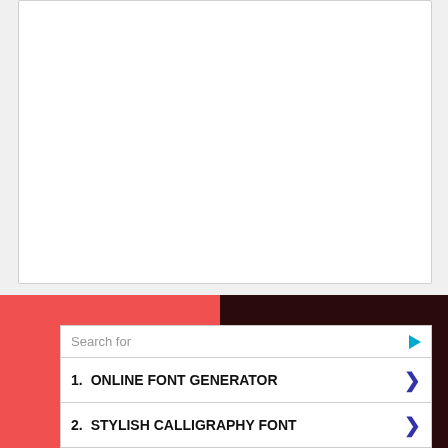[Figure (other): White empty box with light border, representing a blank document or image area]
[Figure (screenshot): Advertisement widget on a two-tone red and dark brown background. Contains a search bar with 'Search for' label and a play button icon, followed by two search result rows: '1. ONLINE FONT GENERATOR' and '2. STYLISH CALLIGRAPHY FONT', each with a right-arrow chevron. Footer reads 'Yahoo! Search | Sponsored'. A dark circular close button labeled 'X' appears at the right.]